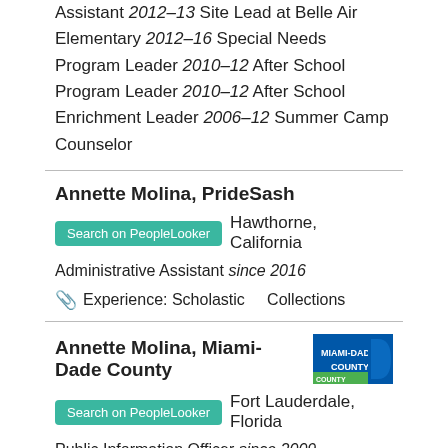Experience: 2016 Event Manager 2007 Event Assistant 2012–13 Site Lead at Belle Air Elementary 2012–16 Special Needs Program Leader 2010–12 After School Program Leader 2010–12 After School Enrichment Leader 2006–12 Summer Camp Counselor
Annette Molina, PrideSash
Search on PeopleLooker  Hawthorne, California
Administrative Assistant since 2016
Experience: Scholastic    Collections
Annette Molina, Miami-Dade County
Search on PeopleLooker  Fort Lauderdale, Florida
Public Information Officer since 2009